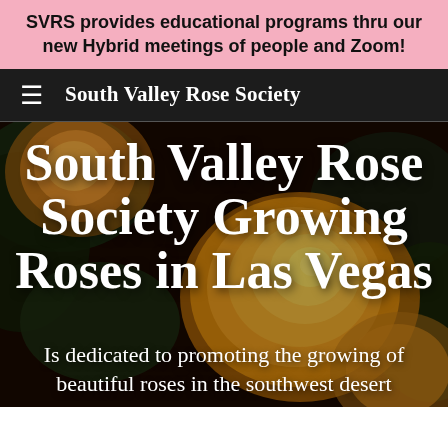SVRS provides educational programs thru our new Hybrid meetings of people and Zoom!
South Valley Rose Society
[Figure (photo): Close-up photograph of large yellow/orange roses with dark green foliage background, used as hero image behind overlaid text]
South Valley Rose Society Growing Roses in Las Vegas
Is dedicated to promoting the growing of beautiful roses in the southwest desert